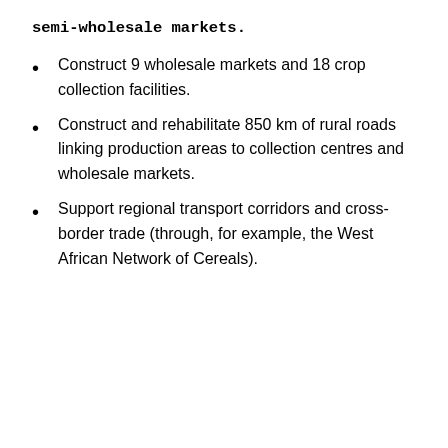semi-wholesale markets.
Construct 9 wholesale markets and 18 crop collection facilities.
Construct and rehabilitate 850 km of rural roads linking production areas to collection centres and wholesale markets.
Support regional transport corridors and cross-border trade (through, for example, the West African Network of Cereals).